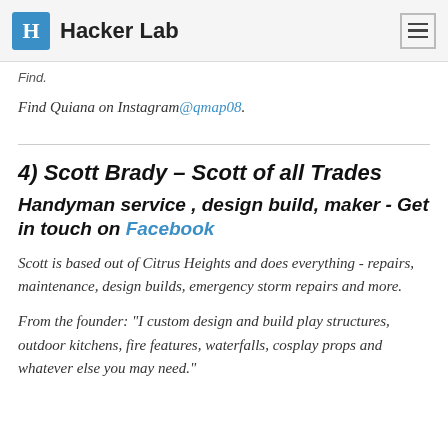Hacker Lab
Find.
Find Quiana on Instagram @qmap08.
4) Scott Brady – Scott of all Trades
Handyman service , design build, maker - Get in touch on Facebook
Scott is based out of Citrus Heights and does everything - repairs, maintenance, design builds, emergency storm repairs and more.
From the founder: "I custom design and build play structures, outdoor kitchens, fire features, waterfalls, cosplay props and whatever else you may need."